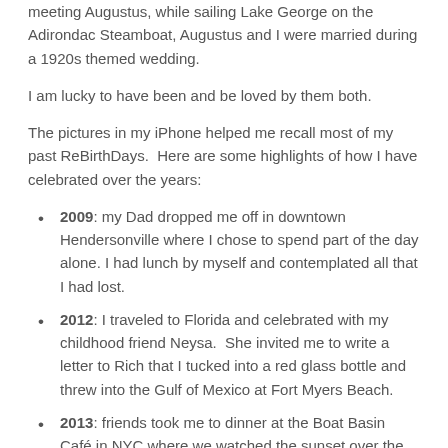meeting Augustus, while sailing Lake George on the Adirondac Steamboat, Augustus and I were married during a 1920s themed wedding.
I am lucky to have been and be loved by them both.
The pictures in my iPhone helped me recall most of my past ReBirthDays.  Here are some highlights of how I have celebrated over the years:
2009: my Dad dropped me off in downtown Hendersonville where I chose to spend part of the day alone. I had lunch by myself and contemplated all that I had lost.
2012: I traveled to Florida and celebrated with my childhood friend Neysa.  She invited me to write a letter to Rich that I tucked into a red glass bottle and threw into the Gulf of Mexico at Fort Myers Beach.
2013: friends took me to dinner at the Boat Basin Café in NYC where we watched the sunset over the Hudson River.  My friend Phil Vanaria also brought a "Hummingbird" ReBirthDay cake to our TBI support group for my fifth year milestone.  In South America, hummingbirds represent rebirth and resurrection